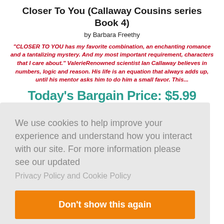Closer To You (Callaway Cousins series Book 4)
by Barbara Freethy
"CLOSER TO YOU has my favorite combination, an enchanting romance and a tantalizing mystery. And my most important requirement, characters that I care about." ValerieRenowned scientist Ian Callaway believes in numbers, logic and reason. His life is an equation that always adds up, until his mentor asks him to do him a small favor. This...
Today's Bargain Price: $5.99
We use cookies to help improve your experience and understand how you interact with our site. For more information please see our updated
Privacy Policy and Cookie Policy
Don't show this again